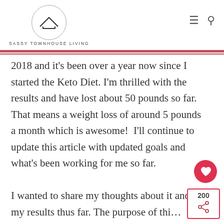SASSY TOWNHOUSE LIVING
2018 and it’s been over a year now since I started the Keto Diet. I’m thrilled with the results and have lost about 50 pounds so far. That means a weight loss of around 5 pounds a month which is awesome!  I’ll continue to update this article with updated goals and what’s been working for me so far.

I wanted to share my thoughts about it and my results thus far. The purpose of thi…